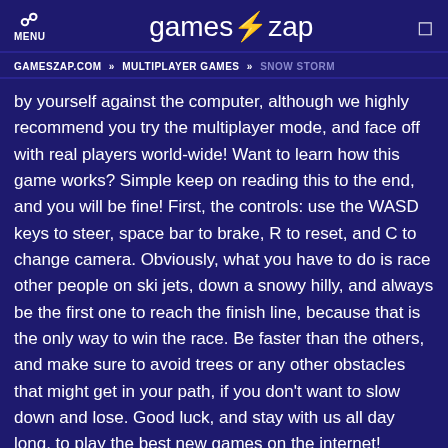MENU | games⚡zap | [search icon]
GAMESZAP.COM » MULTIPLAYER GAMES » SNOW STORM
by yourself against the computer, although we highly recommend you try the multiplayer mode, and face off with real players world-wide! Want to learn how this game works? Simple keep on reading this to the end, and you will be fine! First, the controls: use the WASD keys to steer, space bar to brake, R to reset, and C to change camera. Obviously, what you have to do is race other people on ski jets, down a snowy hilly, and always be the first one to reach the finish line, because that is the only way to win the race. Be faster than the others, and make sure to avoid trees or any other obstacles that might get in your path, if you don't want to slow down and lose. Good luck, and stay with us all day long, to play the best new games on the internet!